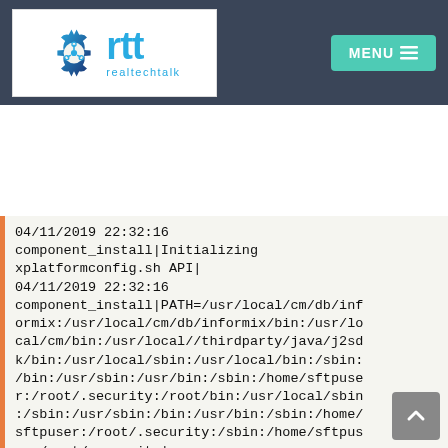[Figure (logo): realtechtalk.com logo with gear/circuit icon and RTT text on white background, with MENU button on dark header]
04/11/2019 22:32:16 component_install|Initializing xplatformconfig.sh API|
04/11/2019 22:32:16 component_install|PATH=/usr/local/cm/db/informix:/usr/local/cm/db/informix/bin:/usr/local/cm/bin:/usr/local//thirdparty/java/j2sdk/bin:/usr/local/sbin:/usr/local/bin:/sbin:/bin:/usr/sbin:/usr/bin:/sbin:/home/sftpuser:/root/.security:/root/bin:/usr/local/sbin:/sbin:/usr/sbin:/bin:/usr/bin:/sbin:/home/sftpuser:/root/.security:/sbin:/home/sftpuser:/root/.security|
04/11/2019 22:32:16 component_install|LD_LIBRARY_PATH=/usr/local/lib:/usr/local/thirdparty/java/j2sdk/jre/lib/i386:/usr/local/thirdparty/java/j2sdk/j